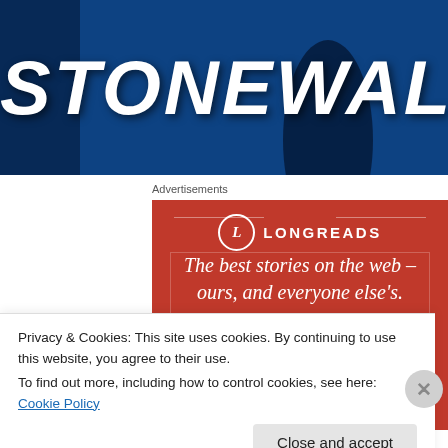[Figure (illustration): Stonewall movie/brand banner with large white bold italic text 'STONEWALL' on a blue background with dark overlay figure]
Advertisements
[Figure (illustration): Longreads advertisement on red background with circle-L logo, brand name LONGREADS, and tagline 'The best stories on the web – ours, and everyone else's.']
Privacy & Cookies: This site uses cookies. By continuing to use this website, you agree to their use.
To find out more, including how to control cookies, see here: Cookie Policy